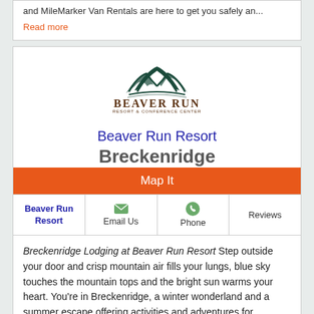and MileMarker Van Rentals are here to get you safely an...
Read more
[Figure (logo): Beaver Run Resort & Conference Center logo with mountain peaks graphic]
Beaver Run Resort
Breckenridge
Map It
| Beaver Run Resort | Email Us | Phone | Reviews |
| --- | --- | --- | --- |
Breckenridge Lodging at Beaver Run Resort Step outside your door and crisp mountain air fills your lungs, blue sky touches the mountain tops and the bright sun warms your heart. You're in Breckenridge, a winter wonderland and a summer escape offering activities and adventures for travelers of all ages. Beaver Run Resort is located in Breckenridge, Colorado, home to one of Americas favorite alpine destinations, the